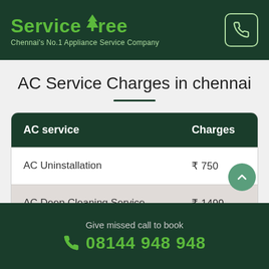ServiceTree – Chennai's No.1 Appliance Service Company
AC Service Charges in chennai
| AC service | Charges |
| --- | --- |
| AC Uninstallation | ₹ 750 |
| AC Deep Cleaning Service | ₹ 1499 |
| Window AC Uninstallation |  |
Give missed call to book 08144 948 948